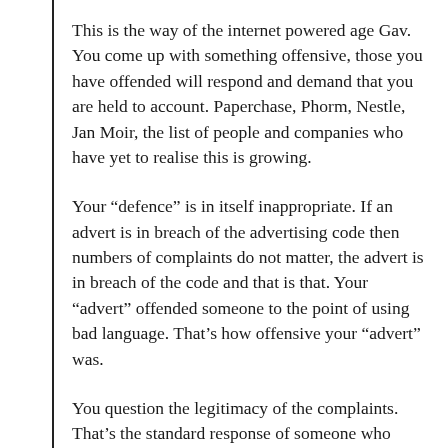This is the way of the internet powered age Gav. You come up with something offensive, those you have offended will respond and demand that you are held to account. Paperchase, Phorm, Nestle, Jan Moir, the list of people and companies who have yet to realise this is growing.
Your “defence” is in itself inappropriate. If an advert is in breach of the advertising code then numbers of complaints do not matter, the advert is in breach of the code and that is that. Your “advert” offended someone to the point of using bad language. That’s how offensive your “advert” was.
You question the legitimacy of the complaints. That’s the standard response of someone who